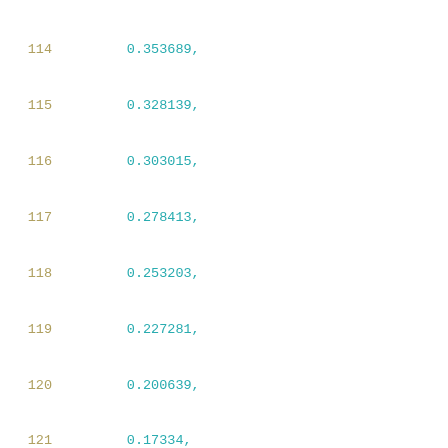114    0.353689,
115    0.328139,
116    0.303015,
117    0.278413,
118    0.253203,
119    0.227281,
120    0.200639,
121    0.17334,
122    0.145504,
123    0.117211,
124    0.0884954,
125    0.0593786,
126    0.0298741,
127    -1.71753e-08,
128    -0.0583687,
129    -0.114336,
130    -0.307865,
131    -2.24674
132    ],
133    [
134    3.78099,
135    0.654126,